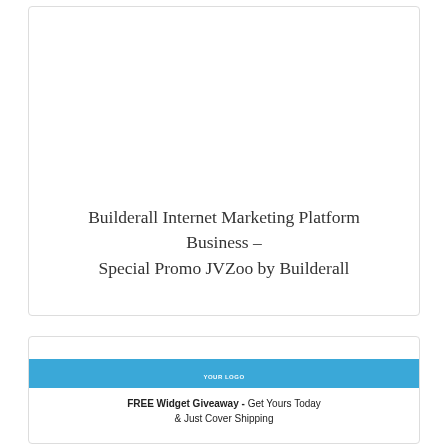[Figure (screenshot): White card with large empty space at top — placeholder for a video or image embed]
Builderall Internet Marketing Platform Business – Special Promo JVZoo by Builderall
[Figure (screenshot): Promotional card with blue header bar showing YOUR LOGO text, and body text: FREE Widget Giveaway - Get Yours Today & Just Cover Shipping]